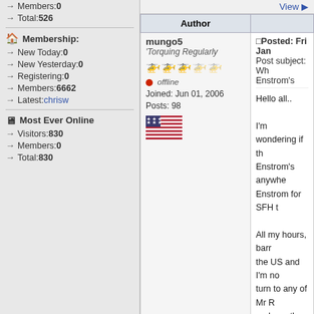Members: 0
Total: 526
Membership:
New Today: 0
New Yesterday: 0
Registering: 0
Members: 6662
Latest: chrisw
Most Ever Online
Visitors: 830
Members: 0
Total: 830
| Author | Post |
| --- | --- |
| mungo5
'Torquing Regularly
offline
Joined: Jun 01, 2006
Posts: 98 | Posted: Fri Jan
Post subject: Wh
Enstrom's

Hello all..

I'm wondering if th
Enstrom's anywhe
Enstrom for SFH t

All my hours, bar
the US and I'm no
turn to any of Mr R
perhaps the 44; b
instead.

Any idea's welcom

Thanks all..
Mungs. |
| ALFA8C
H Addict | Posted: Fri Jan
Post subject:

I know of an Enstr
Manchester. |